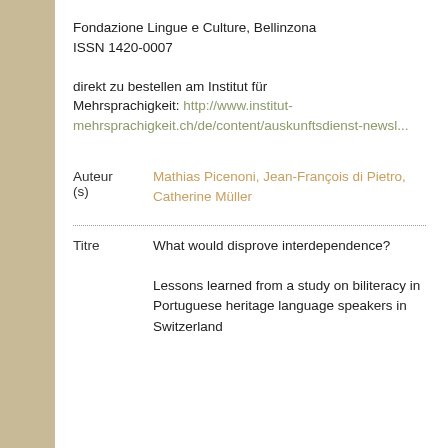Fondazione Lingue e Culture, Bellinzona
ISSN 1420-0007

direkt zu bestellen am Institut für Mehrsprachigkeit: http://www.institut-mehrsprachigkeit.ch/de/content/auskunftsdienst-newsl...
Auteur(s)  Mathias Picenoni, Jean-François di Pietro, Catherine Müller
Titre  What would disprove interdependence?

Lessons learned from a study on biliteracy in Portuguese heritage language speakers in Switzerland